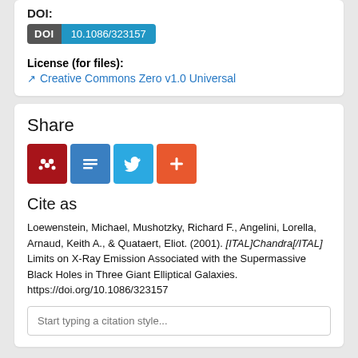DOI:
DOI 10.1086/323157
License (for files):
Creative Commons Zero v1.0 Universal
Share
[Figure (other): Social share buttons: Mendeley, Cite, Twitter, Add]
Cite as
Loewenstein, Michael, Mushotzky, Richard F., Angelini, Lorella, Arnaud, Keith A., & Quataert, Eliot. (2001). [ITAL]Chandra[/ITAL] Limits on X-Ray Emission Associated with the Supermassive Black Holes in Three Giant Elliptical Galaxies. https://doi.org/10.1086/323157
Start typing a citation style...